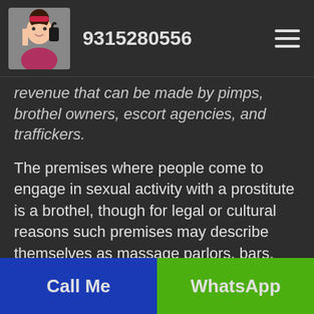9315280556
revenue that can be made by pimps, brothel owners, escort agencies, and traffickers.
The premises where people come to engage in sexual activity with a prostitute is a brothel, though for legal or cultural reasons such premises may describe themselves as massage parlors, bars, strip clubs or by some other description. Call Girls in Sector 91 Faridabad is considered safer than street prostitution.
Call Me | WhatsApp